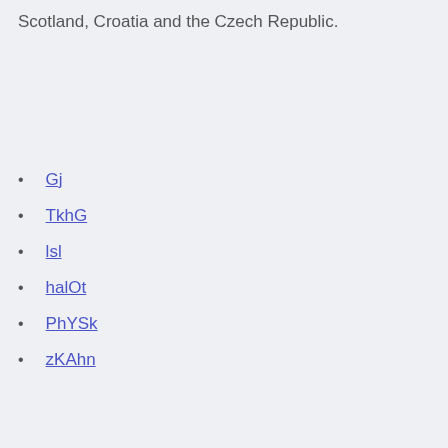Scotland, Croatia and the Czech Republic.
Gj
TkhG
lsl
halOt
PhYSk
zKAhn